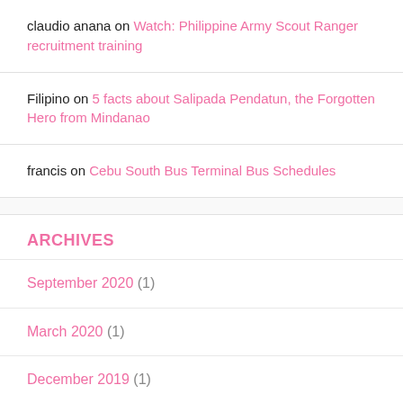claudio anana on Watch: Philippine Army Scout Ranger recruitment training
Filipino on 5 facts about Salipada Pendatun, the Forgotten Hero from Mindanao
francis on Cebu South Bus Terminal Bus Schedules
ARCHIVES
September 2020 (1)
March 2020 (1)
December 2019 (1)
July 2019 (1)